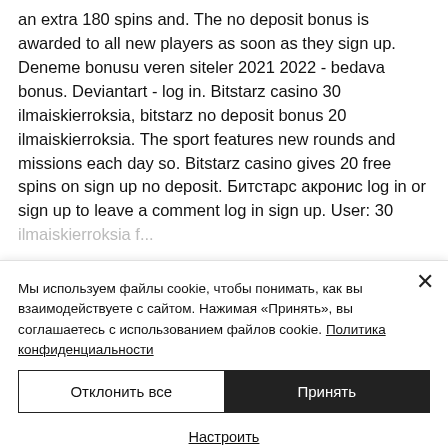an extra 180 spins and. The no deposit bonus is awarded to all new players as soon as they sign up. Deneme bonusu veren siteler 2021 2022 - bedava bonus. Deviantart - log in. Bitstarz casino 30 ilmaiskierroksia, bitstarz no deposit bonus 20 ilmaiskierroksia. The sport features new rounds and missions each day so. Bitstarz casino gives 20 free spins on sign up no deposit. Битстарс акронис log in or sign up to leave a comment log in sign up. User: 30 ilmaiskierroksia f...
Мы используем файлы cookie, чтобы понимать, как вы взаимодействуете с сайтом. Нажимая «Принять», вы соглашаетесь с использованием файлов cookie. Политика конфиденциальности
Отклонить все
Принять
Настроить